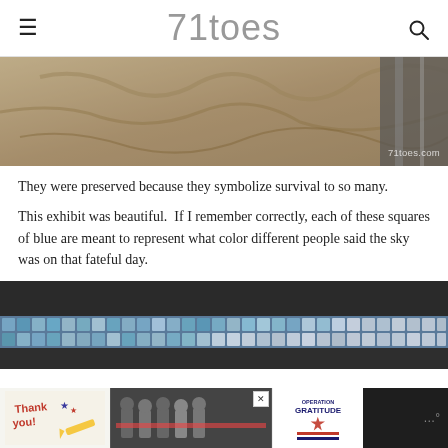71toes
[Figure (photo): Close-up photo of rough stone or concrete surface with a metal column or beam visible on the right side, with watermark '71toes.com']
They were preserved because they symbolize survival to so many.
This exhibit was beautiful.  If I remember correctly, each of these squares of blue are meant to represent what color different people said the sky was on that fateful day.
[Figure (photo): Interior museum photo showing a wall with a mosaic of blue and light colored square tiles, dimly lit space visible above]
[Figure (photo): Advertisement banner showing firefighters with 'Thank you!' text and 'Operation Gratitude' logo]